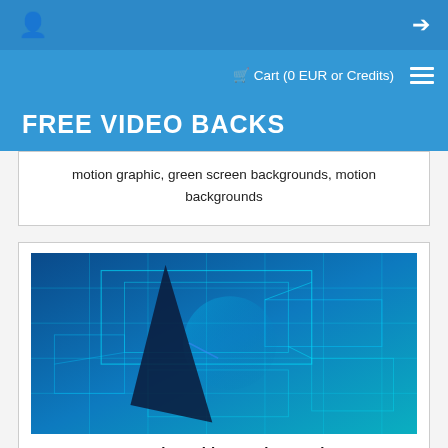Cart (0 EUR or Credits)
FREE VIDEO BACKS
motion graphic, green screen backgrounds, motion backgrounds
[Figure (screenshot): Thumbnail of a tech/blueprint style video background in blue tones with geometric line overlay and dark triangular shape]
Premium Video Background HD0181